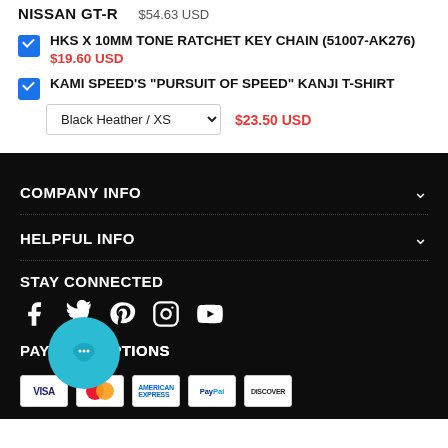NISSAN GT-R  $54.63 USD
HKS X 10MM TONE RATCHET KEY CHAIN (51007-AK276)  $19.60 USD
KAMI SPEED'S "PURSUIT OF SPEED" KANJI T-SHIRT  Black Heather / XS  $23.50 USD
COMPANY INFO
HELPFUL INFO
STAY CONNECTED
PAYMENT OPTIONS